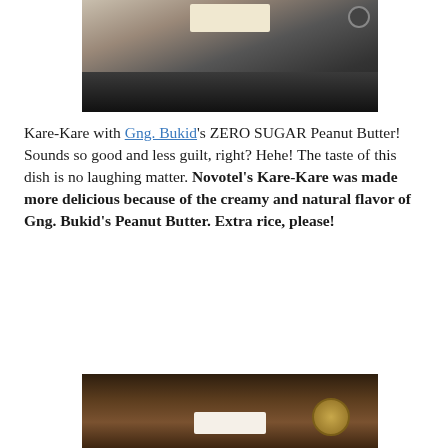[Figure (photo): Top portion of a photo showing a dark tablet/tray device with cartoon character stickers and a power button, on a grey surface]
Kare-Kare with Gng. Bukid's ZERO SUGAR Peanut Butter! Sounds so good and less guilt, right? Hehe! The taste of this dish is no laughing matter. Novotel's Kare-Kare was made more delicious because of the creamy and natural flavor of Gng. Bukid's Peanut Butter. Extra rice, please!
[Figure (photo): Bottom portion of a photo showing jars of what appears to be peanut butter or similar product with label cards on a dark surface]